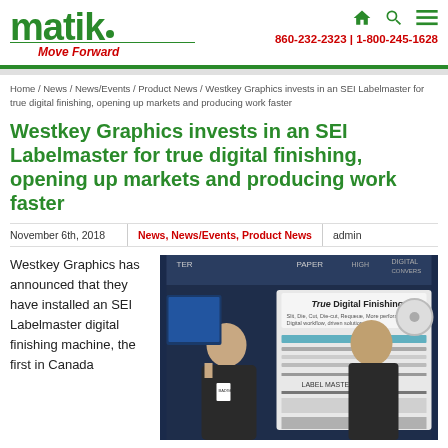matik · Move Forward | 860-232-2323 | 1-800-245-1628
Home / News / News/Events / Product News / Westkey Graphics invests in an SEI Labelmaster for true digital finishing, opening up markets and producing work faster
Westkey Graphics invests in an SEI Labelmaster for true digital finishing, opening up markets and producing work faster
November 6th, 2018 | News, News/Events, Product News | admin
Westkey Graphics has announced that they have installed an SEI Labelmaster digital finishing machine, the first in Canada
[Figure (photo): Two men standing in front of an SEI Labelmaster digital finishing machine at a trade show. The machine has a sign reading 'True Digital Finishing'.]